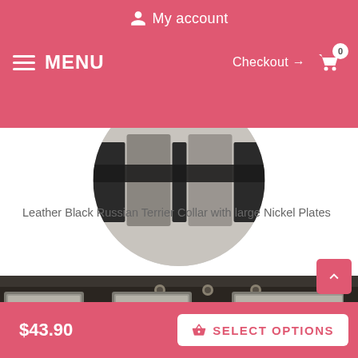My account
MENU  Checkout → 0
[Figure (photo): Partial circular product image showing leather black Russian Terrier collar with large nickel plates, top portion visible]
Leather Black Russian Terrier Collar with large Nickel Plates
[Figure (photo): Close-up photo of black leather dog collar with large rectangular nickel/silver plates and metal eyelets]
$43.90   SELECT OPTIONS